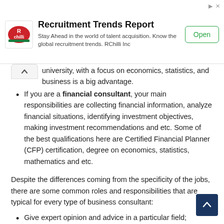[Figure (other): Advertisement banner for RChilli Recruitment Trends Report with logo, description text, and Open button]
university, with a focus on economics, statistics, and business is a big advantage.
If you are a financial consultant, your main responsibilities are collecting financial information, analyze financial situations, identifying investment objectives, making investment recommendations and etc. Some of the best qualifications here are Certified Financial Planner (CFP) certification, degree on economics, statistics, mathematics and etc.
Despite the differences coming from the specificity of the jobs, there are some common roles and responsibilities that are typical for every type of business consultant:
Give expert opinion and advice in a particular field;